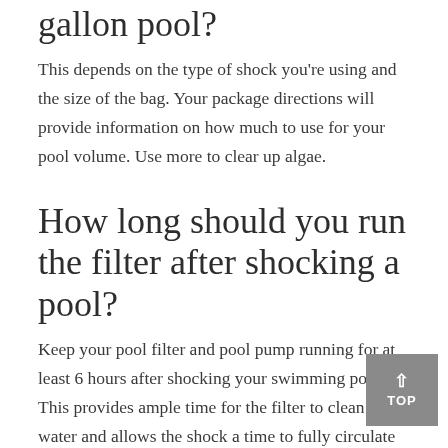gallon pool?
This depends on the type of shock you're using and the size of the bag. Your package directions will provide information on how much to use for your pool volume. Use more to clear up algae.
How long should you run the filter after shocking a pool?
Keep your pool filter and pool pump running for at least 6 hours after shocking your swimming pool. This provides ample time for the filter to clean the water and allows the shock a time to fully circulate within the water. If you are battling algae, run your filter